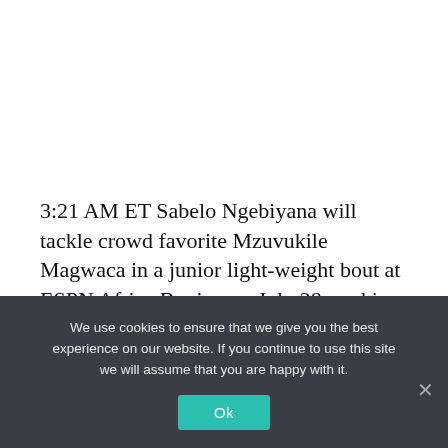3:21 AM ET Sabelo Ngebiyana will tackle crowd favorite Mzuvukile Magwaca in a junior light-weight bout at ESPN Africa Boxing on July 28, seeking to bounce again after his IBF title was taken off his arms. Ngebiyana has had a disappointing 19...
We use cookies to ensure that we give you the best experience on our website. If you continue to use this site we will assume that you are happy with it.